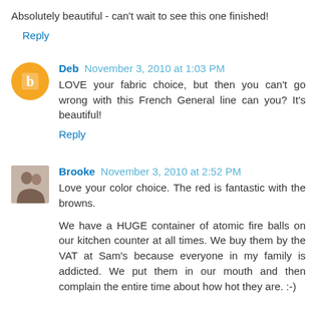Absolutely beautiful - can't wait to see this one finished!
Reply
Deb November 3, 2010 at 1:03 PM
LOVE your fabric choice, but then you can't go wrong with this French General line can you? It's beautiful!
Reply
Brooke November 3, 2010 at 2:52 PM
Love your color choice. The red is fantastic with the browns.
We have a HUGE container of atomic fire balls on our kitchen counter at all times. We buy them by the VAT at Sam's because everyone in my family is addicted. We put them in our mouth and then complain the entire time about how hot they are. :-)